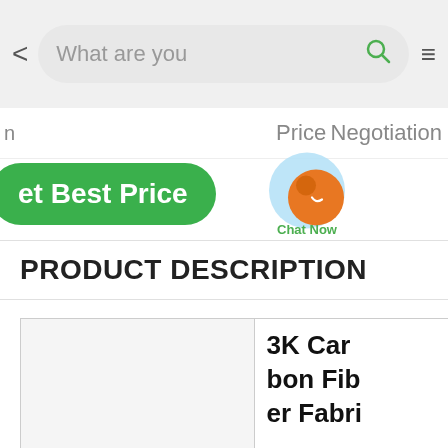< What are you [looking for?] [search icon] [menu]
n    Price Negotiation
et Best Price   [Chat Now]   [envelope] Contac[t]
PRODUCT DESCRIPTION
| [image] | 3K Carbon Fiber Fabri[c] |
| --- | --- |
|  | 3K Car bon Fib er Fabri |